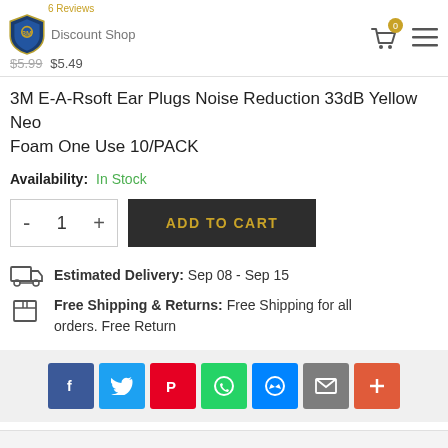6 Reviews | Discount Shop | $5.99 $5.49
3M E-A-Rsoft Ear Plugs Noise Reduction 33dB Yellow Neon Foam One Use 10/PACK
Availability: In Stock
- 1 + ADD TO CART
Estimated Delivery: Sep 08 - Sep 15
Free Shipping & Returns: Free Shipping for all orders. Free Return
[Figure (infographic): Social share buttons: Facebook, Twitter, Pinterest, WhatsApp, Messenger, Email, More]